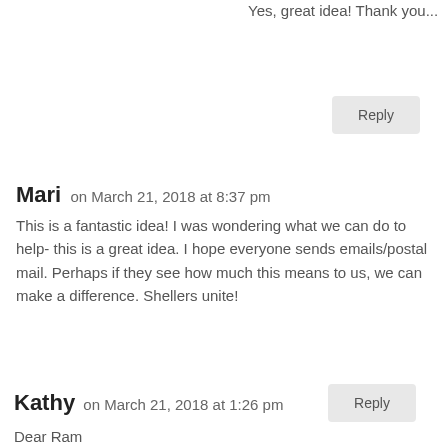Yes, great idea! Thank you...
Reply
Mari on March 21, 2018 at 8:37 pm
This is a fantastic idea! I was wondering what we can do to help- this is a great idea. I hope everyone sends emails/postal mail. Perhaps if they see how much this means to us, we can make a difference. Shellers unite!
Reply
Kathy on March 21, 2018 at 1:26 pm
Dear Ram